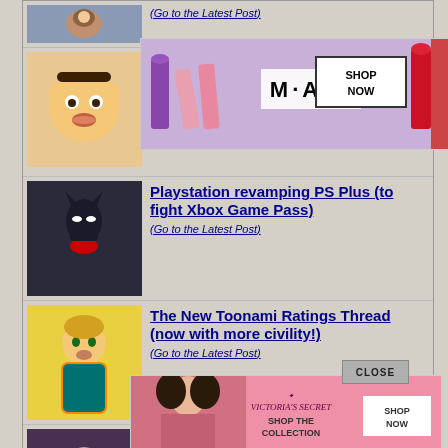(Go to the Latest Post)
[Figure (illustration): MAC Cosmetics ad banner with lipsticks and SHOP NOW button]
Playstation revamping PS Plus (to fight Xbox Game Pass)
(Go to the Latest Post)
The New Toonami Ratings Thread (now with more civility!)
(Go to the Latest Post)
Crunchyroll News & Discussion Thread
(Go to the Latest Post)
"Bugs Bunny Builders" News & Discussion Thread (Spoilers)
(Go to the Latest Post)
[Figure (illustration): CLOSE button for ad]
[Figure (illustration): Victoria's Secret SHOP THE COLLECTION SHOP NOW ad banner]